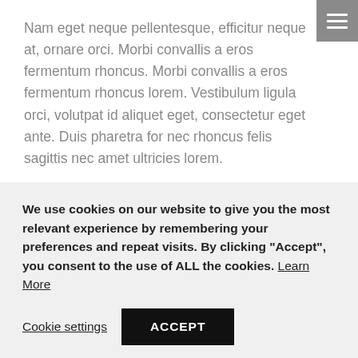Nam eget neque pellentesque, efficitur neque at, ornare orci. Morbi convallis a eros fermentum rhoncus. Morbi convallis a eros fermentum rhoncus lorem. Vestibulum ligula orci, volutpat id aliquet eget, consectetur eget ante. Duis pharetra for nec rhoncus felis sagittis nec amet ultricies lorem.
Quisque lorem 12 YEARS quis efficitur felis. Duis pharetra 86 CLIENTS for amet ultricies augue, nec rhoncus felis 7 AWARDS sagittis nec.
We use cookies on our website to give you the most relevant experience by remembering your preferences and repeat visits. By clicking “Accept”, you consent to the use of ALL the cookies. Learn More
Cookie settings | ACCEPT